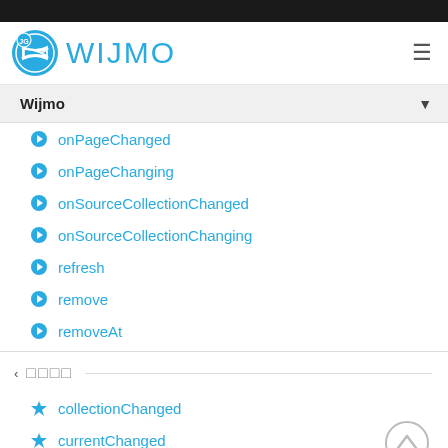[Figure (logo): Wijmo logo with blue circle containing a bowtie icon and 'JG' badge, followed by 'WIJMO' text in light blue]
onPageChanged
onPageChanging
onSourceCollectionChanged
onSourceCollectionChanging
refresh
remove
removeAt
□□□□
collectionChanged
currentChanged
currentChanging
pageChanged
pageChanging